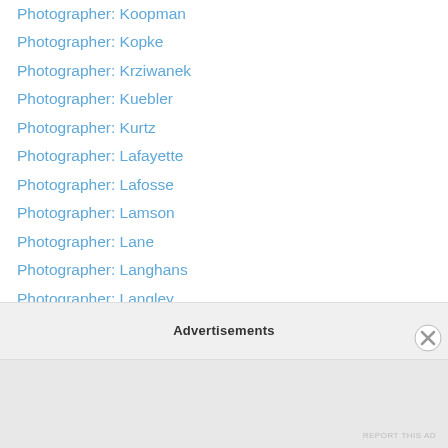Photographer: Koopman
Photographer: Kopke
Photographer: Krziwanek
Photographer: Kuebler
Photographer: Kurtz
Photographer: Lafayette
Photographer: Lafosse
Photographer: Lamson
Photographer: Lane
Photographer: Langhans
Photographer: Langley
Photographer: Lansil
Photographer: Larson
Photographer: Latto
Photographer: Lawrence
Photographer: Lee Brothers
Photographer: Lehnert & Landrock
Advertisements
REPORT THIS AD